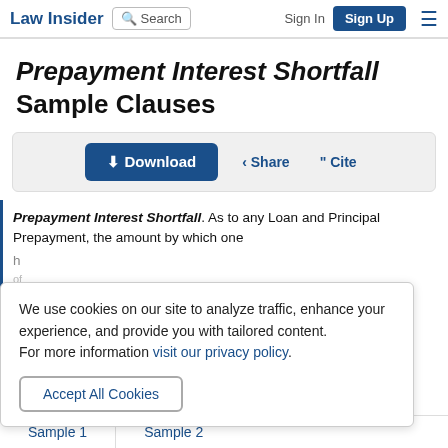Law Insider | Search | Sign In | Sign Up
Prepayment Interest Shortfall Sample Clauses
Download | Share | Cite
Prepayment Interest Shortfall. As to any Loan and Principal Prepayment, the amount by which one ...h ...of ...e ...h ...st ...h
We use cookies on our site to analyze traffic, enhance your experience, and provide you with tailored content.
For more information visit our privacy policy.
Accept All Cookies
Sample 1    Sample 2